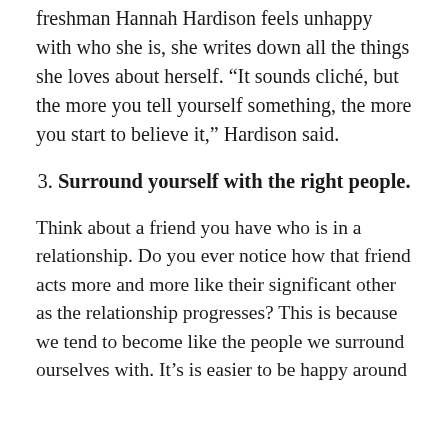freshman Hannah Hardison feels unhappy with who she is, she writes down all the things she loves about herself. “It sounds cliché, but the more you tell yourself something, the more you start to believe it,” Hardison said.
3. Surround yourself with the right people.
Think about a friend you have who is in a relationship. Do you ever notice how that friend acts more and more like their significant other as the relationship progresses? This is because we tend to become like the people we surround ourselves with. It’s is easier to be happy around